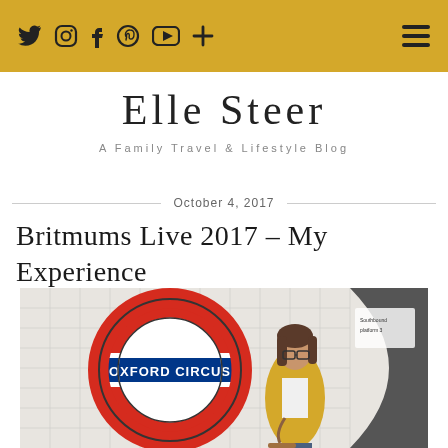Social icons: Twitter, Instagram, Facebook, Pinterest, YouTube, Plus | Hamburger menu
Elle Steer
A Family Travel & Lifestyle Blog
October 4, 2017
Britmums Live 2017 – My Experience
[Figure (photo): Woman standing in front of the Oxford Circus London Underground roundel sign on a tiled station wall. She is wearing a yellow blazer, white top, jeans, glasses, and carrying a brown bag. A dark curved archway is visible to the right.]